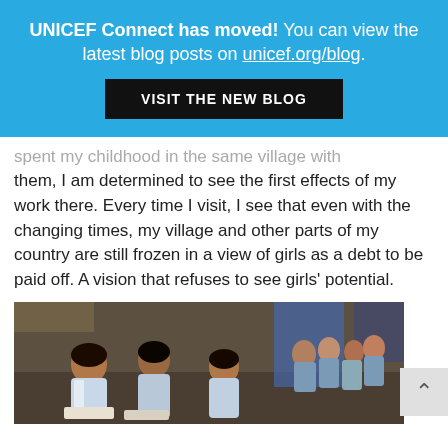UNICEF Connect has moved! You can view the latest blog posts on unicef.org/blog. VISIT THE NEW BLOG
spent my childhood in the same village with them, I am determined to see the first effects of my work there. Every time I visit, I see that even with the changing times, my village and other parts of my country are still frozen in a view of girls as a debt to be paid off. A vision that refuses to see girls' potential.
[Figure (photo): Photo of girls in school uniforms (blue and white) sitting on the floor in a classroom, appearing to be studying or in a group session]